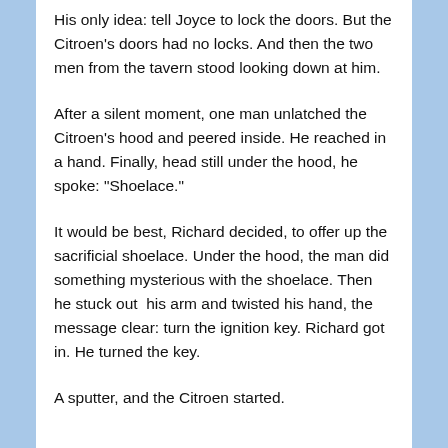His only idea: tell Joyce to lock the doors. But the Citroen's doors had no locks. And then the two men from the tavern stood looking down at him.
After a silent moment, one man unlatched the Citroen's hood and peered inside. He reached in a hand. Finally, head still under the hood, he spoke: "Shoelace."
It would be best, Richard decided, to offer up the sacrificial shoelace. Under the hood, the man did something mysterious with the shoelace. Then he stuck out his arm and twisted his hand, the message clear: turn the ignition key. Richard got in. He turned the key.
A sputter, and the Citroen started.